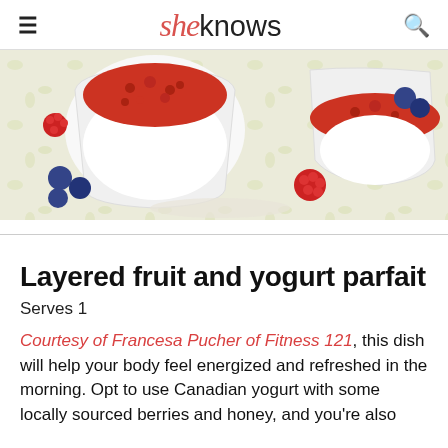sheknows
[Figure (photo): Two glass cups filled with layered white yogurt and red berry topping, surrounded by fresh raspberries and blueberries on a floral tablecloth]
Layered fruit and yogurt parfait
Serves 1
Courtesy of Francesa Pucher of Fitness 121, this dish will help your body feel energized and refreshed in the morning. Opt to use Canadian yogurt with some locally sourced berries and honey, and you're also